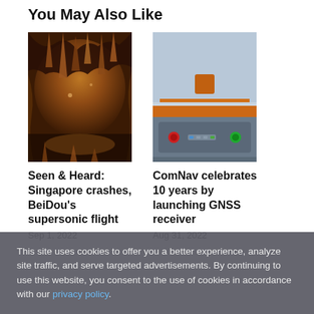You May Also Like
[Figure (photo): Cave with stalactites and orange-amber lit rock formations reflected in water]
Seen & Heard: Singapore crashes, BeiDou's supersonic flight
Sep 1, 2022
[Figure (photo): GNSS receiver device with orange stripe, gray body, and control panel with buttons]
ComNav celebrates 10 years by launching GNSS receiver
Aug 31, 2022
This site uses cookies to offer you a better experience, analyze site traffic, and serve targeted advertisements. By continuing to use this website, you consent to the use of cookies in accordance with our privacy policy.